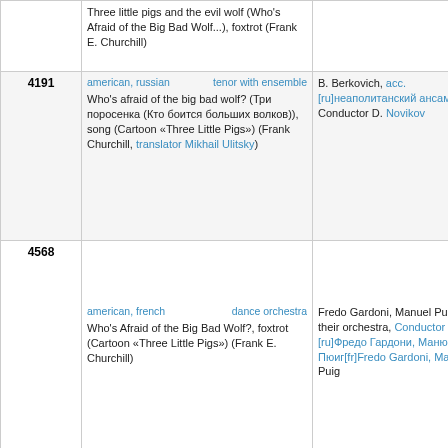| ID | Title/Details | Performers |
| --- | --- | --- |
|  | Three little pigs and the evil wolf (Who's Afraid of the Big Bad Wolf...), foxtrot (Frank E. Churchill) |  |
| 4191 | american, russian | tenor with ensemble
Who's afraid of the big bad wolf? (Три поросенка (Кто боится больших волков)), song (Cartoon «Three Little Pigs») (Frank Churchill, translator Mikhail Ulitsky) | В. Berkovich, acc. [ru]неаполитанский ансамбль Conductor D. Novikov |
| 4568 | american, french | dance orchestra
Who's Afraid of the Big Bad Wolf?, foxtrot (Cartoon «Three Little Pigs») (Frank E. Churchill) | Fredo Gardoni, Manuel Puig and their orchestra, Conductor [ru]Фредо Гардони, Манюэль Пюиг[fr]Fredo Gardoni, Manuel Puig |
| 13074 | russian | dance orchestra
Who's afraid of the big bad wolf (Кто боится злого волка), foxtrot (Cartoon «The Three Little Pigs») (Frank E. Churchill) | Hans Bund and his Orchestra, Conductor Hans Bund |